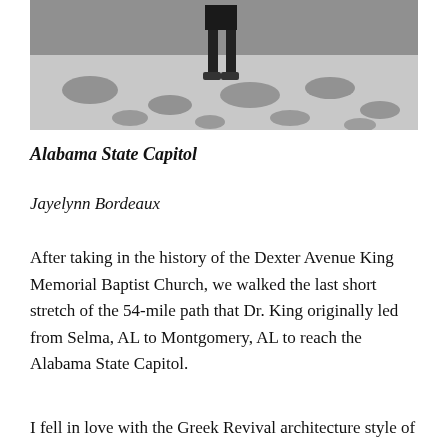[Figure (photo): Black and white photo showing a person standing on a patterned ground surface with oval/circular dark spots, viewed from above/angle.]
Alabama State Capitol
Jayelynn Bordeaux
After taking in the history of the Dexter Avenue King Memorial Baptist Church, we walked the last short stretch of the 54-mile path that Dr. King originally led from Selma, AL to Montgomery, AL to reach the Alabama State Capitol.
I fell in love with the Greek Revival architecture style of the Capitol. The view is striking...